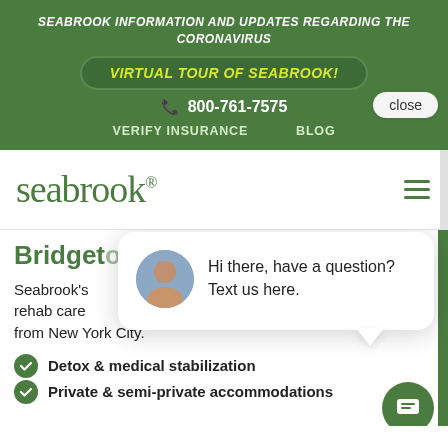SEABROOK INFORMATION AND UPDATES REGARDING THE CORONAVIRUS
VIRTUAL TOUR OF SEABROOK!
800-761-7575
VERIFY INSURANCE   BLOG
[Figure (logo): Seabrook logo in green text with registered trademark symbol]
Bridgeton, NJ
Seabrook's rehab care from New York City.
[Figure (screenshot): Chat popup with avatar photo and text: Hi there, have a question? Text us here.]
Detox & medical stabilization
Private & semi-private accommodations